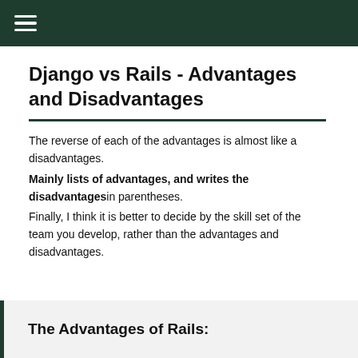☰
Django vs Rails - Advantages and Disadvantages
The reverse of each of the advantages is almost like a disadvantages.
Mainly lists of advantages, and writes the disadvantages in parentheses.
Finally, I think it is better to decide by the skill set of the team you develop, rather than the advantages and disadvantages.
The Advantages of Rails: